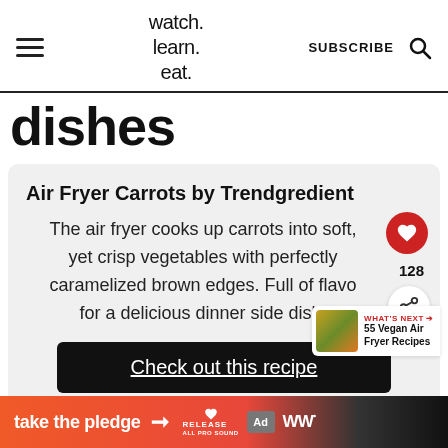watch. learn. eat. | SUBSCRIBE
dishes
Air Fryer Carrots by Trendgredient
The air fryer cooks up carrots into soft, yet crisp vegetables with perfectly caramelized brown edges. Full of flavo for a delicious dinner side dish.
Check out this recipe
128
WHAT'S NEXT → 55 Vegan Air Fryer Recipes
take the pledge →